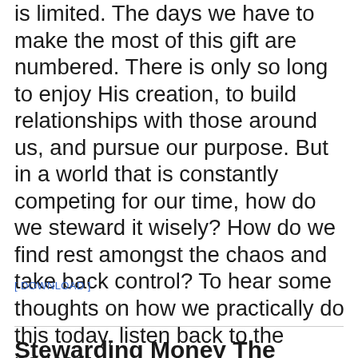is limited. The days we have to make the most of this gift are numbered. There is only so long to enjoy His creation, to build relationships with those around us, and pursue our purpose. But in a world that is constantly competing for our time, how do we steward it wisely? How do we find rest amongst the chaos and take back control? To hear some thoughts on how we practically do this today, listen back to the podcast.
[Figure (other): Audio player widget showing play button, time 00:00, and a progress bar on a light grey background]
[ DOWNLOAD ]
Stewardino Manago The Poc...